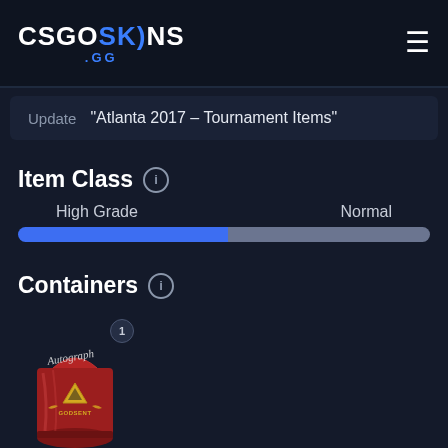CSGOSKINS .GG
Update  "Atlanta 2017 – Tournament Items"
Item Class
[Figure (other): Progress bar showing High Grade vs Normal split, approximately 51% blue (High Grade) and 49% gray (Normal)]
Containers
[Figure (illustration): Autograph capsule item image featuring a red foil packet with gold triangle/GODSENT logo and cursive Autograph text, with a badge showing number 1]